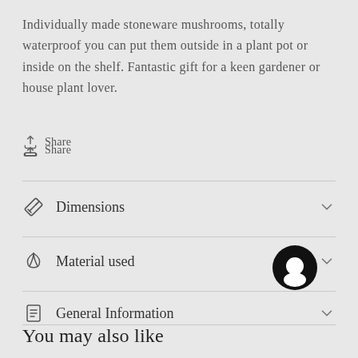Individually made stoneware mushrooms, totally waterproof you can put them outside in a plant pot or inside on the shelf. Fantastic gift for a keen gardener or house plant lover.
Share
Dimensions
Material used
General Information
You may also like